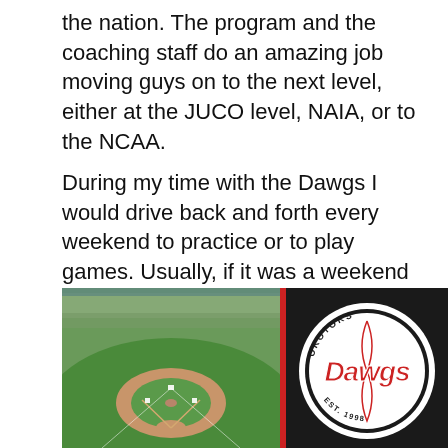the nation. The program and the coaching staff do an amazing job moving guys on to the next level, either at the JUCO level, NAIA, or to the NCAA.
During my time with the Dawgs I would drive back and forth every weekend to practice or to play games. Usually, if it was a weekend series, I would meet the team at the ballpark. I met a lot of good friends in my time with the Dawgs and I wouldn't change anything about my decision to be a Dawg.
[Figure (photo): Aerial view of a baseball field/stadium with green turf and surrounding stands]
[Figure (logo): Okotoks Dawgs baseball team logo — white circle with 'Okotoks' text around top, 'Dawgs' script in red and white in center, 'Est. 1998' at bottom, on black background with red vertical stripe on left]